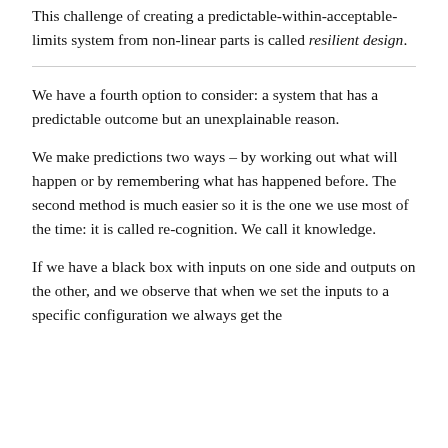This challenge of creating a predictable-within-acceptable-limits system from non-linear parts is called resilient design.
We have a fourth option to consider: a system that has a predictable outcome but an unexplainable reason.
We make predictions two ways – by working out what will happen or by remembering what has happened before. The second method is much easier so it is the one we use most of the time: it is called re-cognition. We call it knowledge.
If we have a black box with inputs on one side and outputs on the other, and we observe that when we set the inputs to a specific configuration we always get the